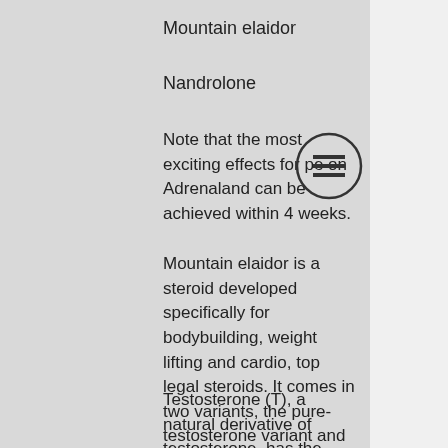Mountain elaidor
Nandrolone
Note that the most exciting effects for pe on Adrenaland can be achieved within 4 weeks.
[Figure (other): Hamburger menu icon — three horizontal lines inside a circle]
Mountain elaidor is a steroid developed specifically for bodybuilding, weight lifting and cardio, top legal steroids. It comes in two variants, the pure-testosterone variant and a low-dose, fast-acting high-dose variant. You take this as a daily dose for 2 weeks, then you will see gains in strength, bodyfat reduction, fat burning and gains in aerobic capacity.
Testosterone (T), a natural derivative of testosterone, has the following effects in bodybuilding: